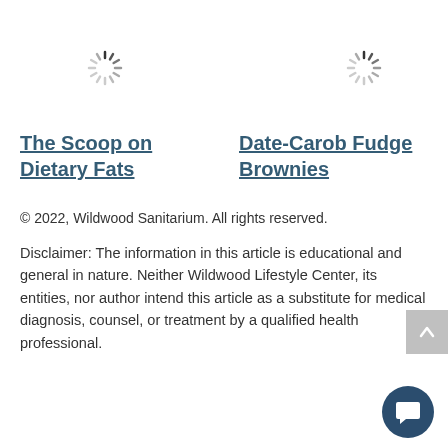[Figure (other): Loading spinner icon (circular dashed spinner), left position]
[Figure (other): Loading spinner icon (circular dashed spinner), right position]
The Scoop on Dietary Fats
Date-Carob Fudge Brownies
© 2022, Wildwood Sanitarium. All rights reserved.
Disclaimer: The information in this article is educational and general in nature. Neither Wildwood Lifestyle Center, its entities, nor author intend this article as a substitute for medical diagnosis, counsel, or treatment by a qualified health professional.